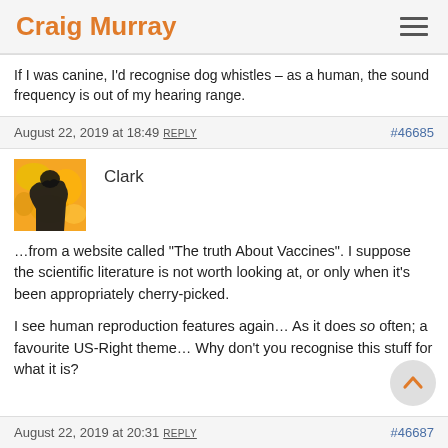Craig Murray
If I was canine, I'd recognise dog whistles – as a human, the sound frequency is out of my hearing range.
August 22, 2019 at 18:49 REPLY   #46685
[Figure (photo): Avatar image of commenter Clark, showing a silhouette against an orange/yellow textured background]
Clark
…from a website called "The truth About Vaccines". I suppose the scientific literature is not worth looking at, or only when it's been appropriately cherry-picked.

I see human reproduction features again… As it does so often; a favourite US-Right theme… Why don't you recognise this stuff for what it is?
August 22, 2019 at 20:31 REPLY   #46687